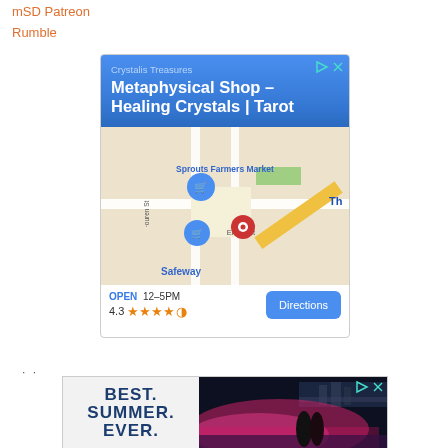mSD Patreon
Rumble
[Figure (screenshot): Google Maps advertisement for Crystalis Treasures - Metaphysical Shop, Healing Crystals, Tarot. Shows map with location pins near Sprouts Farmers Market and Safeway on Elden St. Hours: OPEN 12-5PM, Rating: 4.3 stars, Directions button.]
[Figure (screenshot): Advertisement with text 'BEST. SUMMER. EVER.' on left in dark blue bold font on light background, and on right a photo of Niagara Falls at night with pink lighting and couple silhouette.]